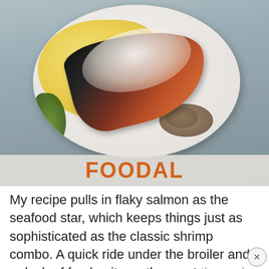[Figure (photo): Photo of a plated salmon dish with crispy dark skin on top, served over creamy polenta or scrambled eggs with mushrooms and grated parmesan cheese, garnished with fresh thyme. A gray plate on a wooden surface. FOODAL watermark overlay at the bottom of the image.]
My recipe pulls in flaky salmon as the seafood star, which keeps things just as sophisticated as the classic shrimp combo. A quick ride under the broiler and a dash of fresh, citrusy thyme at the end means the protein is a snap